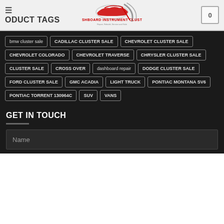PRODUCT TAGS
[Figure (logo): Dashboard Instrument Cluster logo with red car speedometer graphic and tagline: Repair, Rebuild, Service and Sale]
bmw cluster sale
CADILLAC CLUSTER SALE
CHEVROLET CLUSTER SALE
CHEVROLET COLORADO
CHEVROLET TRAVERSE
CHRYSLER CLUSTER SALE
CLUSTER SALE
CROSS OVER
dashboard repair
DODGE CLUSTER SALE
FORD CLUSTER SALE
GMC ACADIA
LIGHT TRUCK
PONTIAC MONTANA SV6
PONTIAC TORRENT 130964C
SUV
VANS
GET IN TOUCH
Name